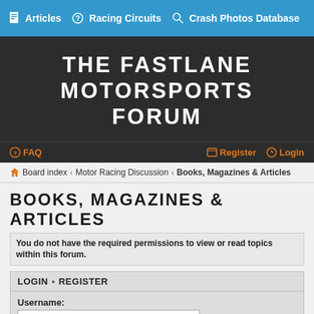Articles  Racing Circuits  Crash Photos Database
THE FASTLANE MOTORSPORTS FORUM
FAQ  Register  Login
Board index › Motor Racing Discussion › Books, Magazines & Articles
BOOKS, MAGAZINES & ARTICLES
You do not have the required permissions to view or read topics within this forum.
LOGIN • REGISTER
Username:
Password: